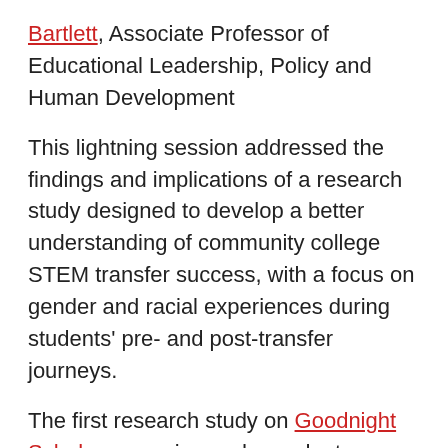Bartlett, Associate Professor of Educational Leadership, Policy and Human Development
This lightning session addressed the findings and implications of a research study designed to develop a better understanding of community college STEM transfer success, with a focus on gender and racial experiences during students' pre- and post-transfer journeys.
The first research study on Goodnight Scholars pursuing undergraduate STEM degrees at NC State, the findings show that even when financial barriers are mitigated for transfer students who receive scholarships, students need additional support to help increase their capital to better navigate the